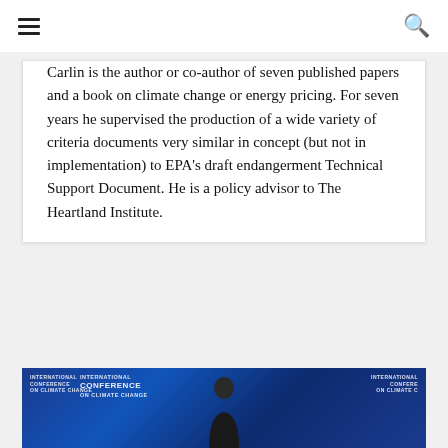Carlin is the author or co-author of seven published papers and a book on climate change or energy pricing. For seven years he supervised the production of a wide variety of criteria documents very similar in concept (but not in implementation) to EPA’s draft endangerment Technical Support Document. He is a policy advisor to The Heartland Institute.
[Figure (photo): A man speaking at an International Conference on Climate Change, shown against a blue backdrop with conference branding.]